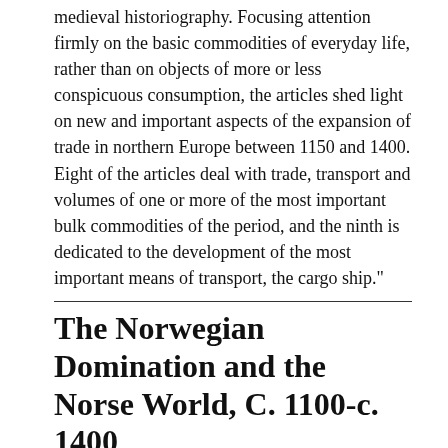medieval historiography. Focusing attention firmly on the basic commodities of everyday life, rather than on objects of more or less conspicuous consumption, the articles shed light on new and important aspects of the expansion of trade in northern Europe between 1150 and 1400. Eight of the articles deal with trade, transport and volumes of one or more of the most important bulk commodities of the period, and the ninth is dedicated to the development of the most important means of transport, the cargo ship."
The Norwegian Domination and the Norse World, C. 1100-c. 1400
[Figure (illustration): Book cover thumbnail for 'The Norwegian Domination and the Norse World' with a decorative shield/crest in orange/red on a tan background]
Author: Steinar Imsen
Publisher: Tapir Academic Press
ISBN: 9788251925631
Category: History